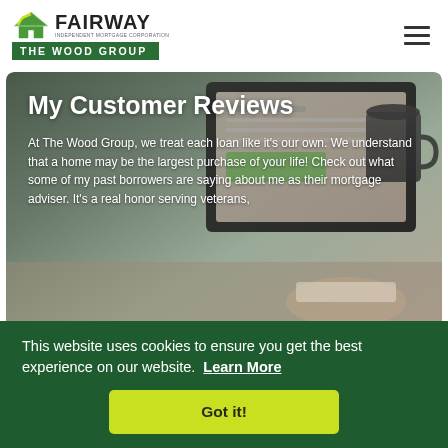[Figure (logo): Fairway Independent Mortgage Corporation - The Wood Group logo with green house icon]
[Figure (illustration): Hamburger menu icon (three horizontal lines) in top right corner]
[Figure (photo): Background photo of laptop on desk with blurred background for hero section]
My Customer Reviews
At The Wood Group, we treat each loan like it's our own. We understand that a home may be the largest purchase of your life! Check out what some of my past borrowers are saying about me as their mortgage adviser. It's a real honor serving veterans,
This website uses cookies to ensure you get the best experience on our website.  Learn More
Got it!